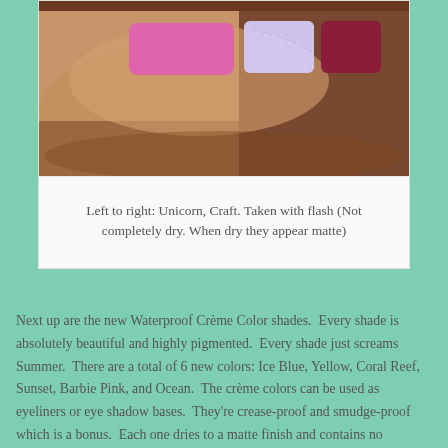[Figure (photo): Close-up photo of a hand/wrist with two lipstick/color swatches applied: a pink matte swatch on the left labeled Unicorn, and a glittery silver swatch next to a dark red/burgundy swatch on the right labeled Craft.]
Left to right: Unicorn, Craft. Taken with flash (Not completely dry. When dry they appear matte)
Next up are the new Waterproof Crème Color shades.  Every shade is absolutely beautiful and highly pigmented.  Every shade just screams Summer.  There are a total of 6 new colors: Ice Blue, Yellow, Coral Reef, Sunset, Barbie Pink, and Ocean.  The crème colors can be used as eyeliners or eye shadow bases.  They're crease-proof and smudge-proof which is a bonus.  Each one dries to a matte finish and contains no sparkles.  I think it's interesting how they included two pink shades because it's not everyday that you come across pink eye shadow bases or even pink eyeliners.